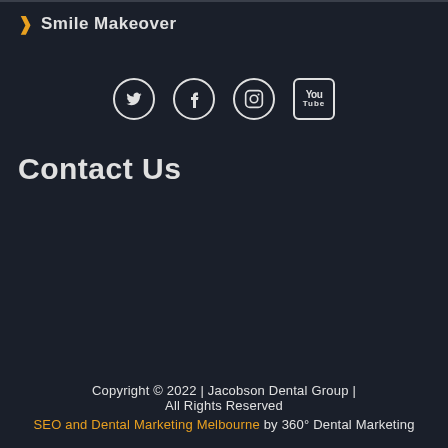Smile Makeover
[Figure (other): Social media icons: Twitter, Facebook, Instagram, YouTube]
Contact Us
| Address | 910 North Road Bentleigh East VIC 3165 Australia |
| Hours | Mon-Wed: 9:00am - 5:00pm
Thu-Fri: 9:00am - 3:00pm
Sat-Sun: Closed |
| Phone | (03) 8525 3875 |
| Email | admin@jacobsondental.com.au |
Copyright © 2022 | Jacobson Dental Group | All Rights Reserved
SEO and Dental Marketing Melbourne by 360° Dental Marketing